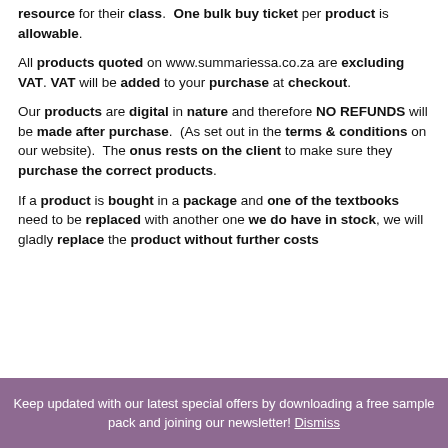resource for their class. One bulk buy ticket per product is allowable.
All products quoted on www.summariessa.co.za are excluding VAT. VAT will be added to your purchase at checkout.
Our products are digital in nature and therefore NO REFUNDS will be made after purchase. (As set out in the terms & conditions on our website). The onus rests on the client to make sure they purchase the correct products.
If a product is bought in a package and one of the textbooks need to be replaced with another one we do have in stock, we will gladly replace the product without further costs
Keep updated with our latest special offers by downloading a free sample pack and joining our newsletter! Dismiss